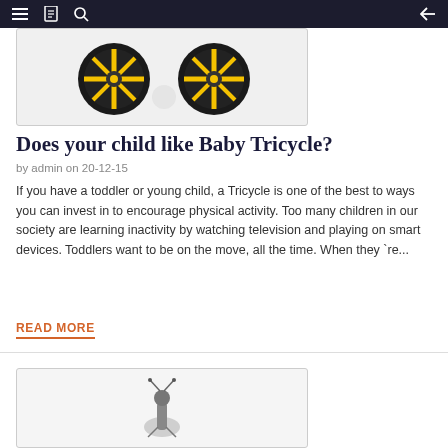Navigation bar with menu, bookmark, search icons and back arrow
[Figure (photo): Close-up photo of two yellow tricycle wheels on white background]
Does your child like Baby Tricycle?
by admin on 20-12-15
If you have a toddler or young child, a Tricycle is one of the best to ways you can invest in to encourage physical activity. Too many children in our society are learning inactivity by watching television and playing on smart devices. Toddlers want to be on the move, all the time. When they're...
READ MORE
[Figure (photo): Photo of a small figurine or toy (appears to be a bird or animal figure) on white background]